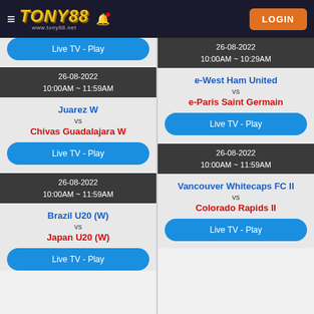[Figure (screenshot): Tony88 website header with logo, hamburger menu, bell icon, and LOGIN button]
Live TV - Play
26-08-2022
10:00AM ~ 11:59AM
Juarez W vs Chivas Guadalajara W
Live TV - Play
26-08-2022
10:00AM ~ 11:59AM
Brazil U20 (W) vs Japan U20 (W)
Live TV - Play
26-08-2022
10:00AM ~ 10:29AM
e-West Ham United vs e-Paris Saint Germain
Live TV - Play
26-08-2022
10:00AM ~ 11:59AM
Vancouver Whitecaps FC II vs Colorado Rapids II
Live TV - Play